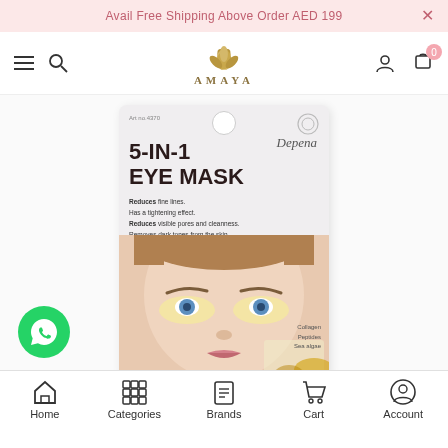Avail Free Shipping Above Order AED 199
[Figure (screenshot): Amaya e-commerce website navigation bar with hamburger menu, search icon, Amaya lotus logo, user account icon, and cart icon showing 0 items]
[Figure (photo): Depena 5-IN-1 EYE MASK product box showing a woman's face with eye patches. Text on box: Reduces fine lines. Has a tightening effect. Reduces visible pores and cleanness. Removes dark tones from the skin. Restores moisture. Ingredients: Collagen, Peptides, Sea algae]
[Figure (other): WhatsApp contact button (green circle with WhatsApp icon)]
Home | Categories | Brands | Cart | Account